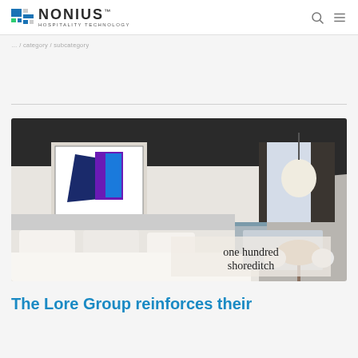NONIUS HOSPITALITY TECHNOLOGY
breadcrumb navigation
[Figure (photo): Hotel room interior at One Hundred Shoreditch: modern bedroom with white bedding, dark ceiling, pendant light globe, framed abstract artwork, and dining area with chairs and round table near window. Overlay text reads 'one hundred shoreditch'.]
The Lore Group reinforces their